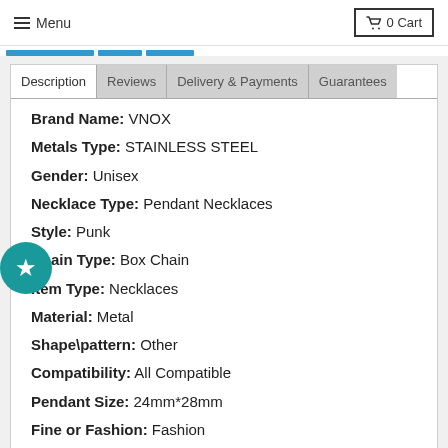Menu  0 Cart
Description | Reviews | Delivery & Payments | Guarantees
Brand Name: VNOX
Metals Type: STAINLESS STEEL
Gender: Unisex
Necklace Type: Pendant Necklaces
Style: Punk
Chain Type: Box Chain
Item Type: Necklaces
Material: Metal
Shape\pattern: Other
Compatibility: All Compatible
Pendant Size: 24mm*28mm
Fine or Fashion: Fashion
Chain Length:60cm/24"